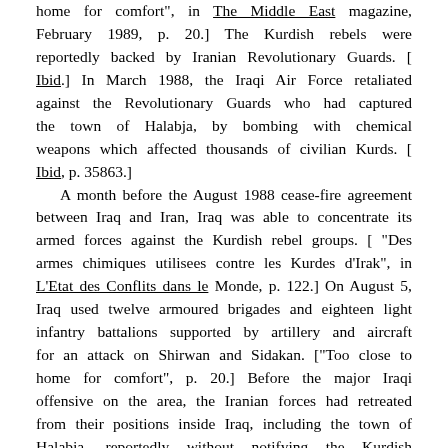home for comfort", in The Middle East magazine, February 1989, p. 20.] The Kurdish rebels were reportedly backed by Iranian Revolutionary Guards. [ Ibid.] In March 1988, the Iraqi Air Force retaliated against the Revolutionary Guards who had captured the town of Halabja, by bombing with chemical weapons which affected thousands of civilian Kurds. [ Ibid, p. 35863.]
A month before the August 1988 cease-fire agreement between Iraq and Iran, Iraq was able to concentrate its armed forces against the Kurdish rebel groups. [ "Des armes chimiques utilisees contre les Kurdes d'Irak", in L'Etat des Conflits dans le Monde, p. 122.] On August 5, Iraq used twelve armoured brigades and eighteen light infantry battalions supported by artillery and aircraft for an attack on Shirwan and Sidakan. ["Too close to home for comfort", p. 20.] Before the major Iraqi offensive on the area, the Iranian forces had retreated from their positions inside Iraq, including the town of Halabja, reportedly without notifying the Kurdish rebels, leaving strategic positions open for the Iraqi